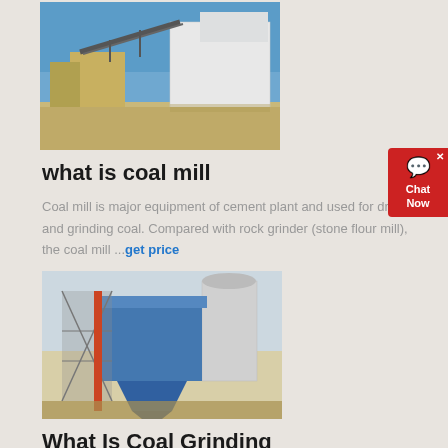[Figure (photo): Industrial cement plant facility with conveyor belts and large white building structures under blue sky]
what is coal mill
Coal mill is major equipment of cement plant and used for drying and grinding coal. Compared with rock grinder (stone flour mill), the coal mill ...get price
[Figure (photo): Industrial coal grinding equipment - blue metal structure with silos and steel framework]
What Is Coal Grinding Technology, Coal Mill S...